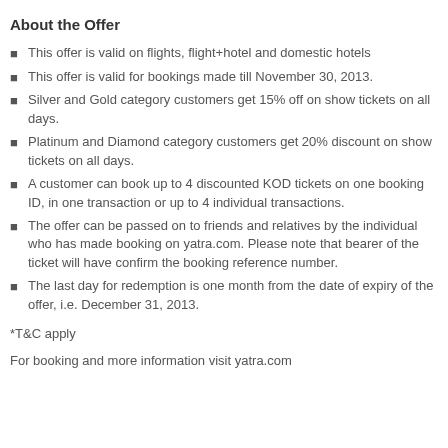About the Offer
This offer is valid on flights, flight+hotel and domestic hotels
This offer is valid for bookings made till November 30, 2013.
Silver and Gold category customers get 15% off on show tickets on all days.
Platinum and Diamond category customers get 20% discount on show tickets on all days.
A customer can book up to 4 discounted KOD tickets on one booking ID, in one transaction or up to 4 individual transactions.
The offer can be passed on to friends and relatives by the individual who has made booking on yatra.com. Please note that bearer of the ticket will have confirm the booking reference number.
The last day for redemption is one month from the date of expiry of the offer, i.e. December 31, 2013.
*T&C apply
For booking and more information visit yatra.com